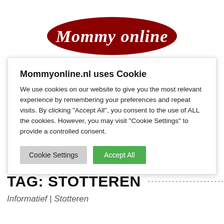[Figure (logo): Mommyonline logo with dark red ellipse, cursive text 'Mommyonline' and a mauve/pink heart-shaped graphic below]
Mommyonline.nl uses Cookie
We use cookies on our website to give you the most relevant experience by remembering your preferences and repeat visits. By clicking "Accept All", you consent to the use of ALL the cookies. However, you may visit "Cookie Settings" to provide a controlled consent.
Cookie Settings  Accept All
TAG: STOTTEREN
Informatief | Stotteren